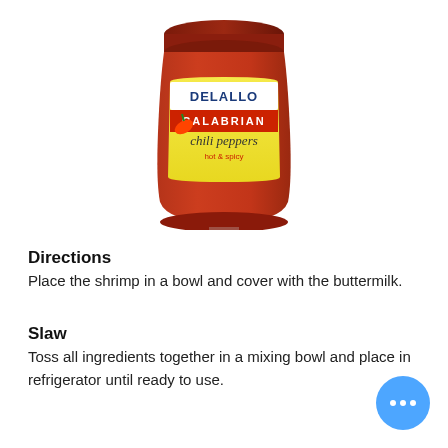[Figure (photo): Jar of DeLallo Calabrian Chili Peppers, hot & spicy, shown partially at top of page]
Directions
Place the shrimp in a bowl and cover with the buttermilk.
Slaw
Toss all ingredients together in a mixing bowl and place in refrigerator until ready to use.
Bang Bang Sauce
Add water, sugar, garlic, chili peppers, vinegar, and cornstarch to a small sauce pan and bring to a boil.  Whisk continuously for about 1 minute and remove from heat.  Pour into small mixing bowl and let cool.  Add the mayonnaise and whisk in 2 teaspoons of Sriracha chili sauce or to desired heat.
Fried Shrimp